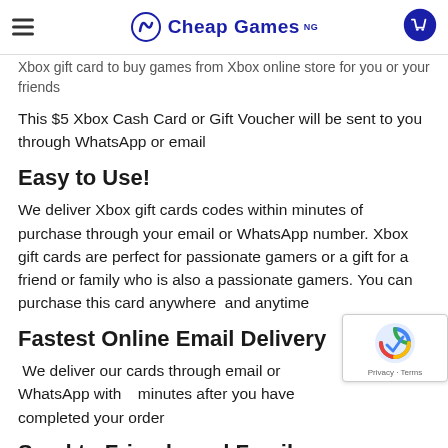Cheap Games NG
Xbox gift card to buy games from Xbox online store for you or your friends
This $5 Xbox Cash Card or Gift Voucher will be sent to you through WhatsApp or email
Easy to Use!
We deliver Xbox gift cards codes within minutes of purchase through your email or WhatsApp number. Xbox gift cards are perfect for passionate gamers or a gift for a friend or family who is also a passionate gamers. You can purchase this card anywhere and anytime
Fastest Online Email Delivery
We deliver our cards through email or WhatsApp within minutes after you have completed your order
Send to Friends and Family